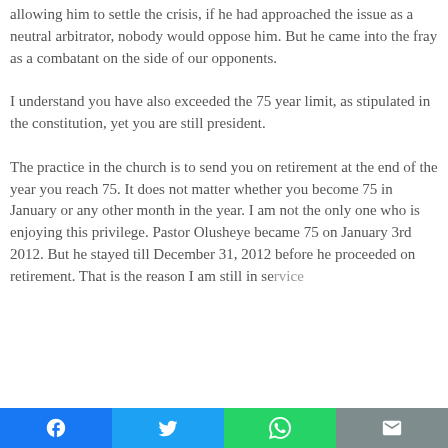allowing him to settle the crisis, if he had approached the issue as a neutral arbitrator, nobody would oppose him. But he came into the fray as a combatant on the side of our opponents.
I understand you have also exceeded the 75 year limit, as stipulated in the constitution, yet you are still president.
The practice in the church is to send you on retirement at the end of the year you reach 75. It does not matter whether you become 75 in January or any other month in the year. I am not the only one who is enjoying this privilege. Pastor Olusheye became 75 on January 3rd 2012. But he stayed till December 31, 2012 before he proceeded on retirement. That is the reason I am still in service.